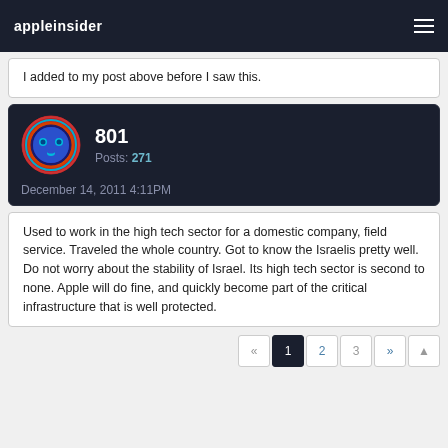appleinsider
I added to my post above before I saw this.
801
Posts: 271
December 14, 2011 4:11PM
Used to work in the high tech sector for a domestic company, field service. Traveled the whole country. Got to know the Israelis pretty well. Do not worry about the stability of Israel. Its high tech sector is second to none. Apple will do fine, and quickly become part of the critical infrastructure that is well protected.
« 1 2 3 »